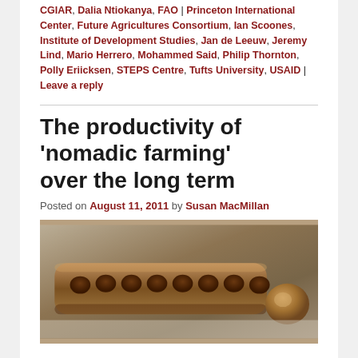CGIAR, Delia Nicholye, FAO, Princeton International Center, Future Agricultures Consortium, Ian Scoones, Institute of Development Studies, Jan de Leeuw, Jeremy Lind, Mario Herrero, Mohammed Said, Philip Thornton, Polly Eriicksen, STEPS Centre, Tufts University, USAID | Leave a reply
The productivity of 'nomadic farming' over the long term
Posted on August 11, 2011 by Susan MacMillan
[Figure (photo): A photograph of a wooden mancala board with rounded hollows, displayed on a white surface, with a large rounded wooden piece beside it.]